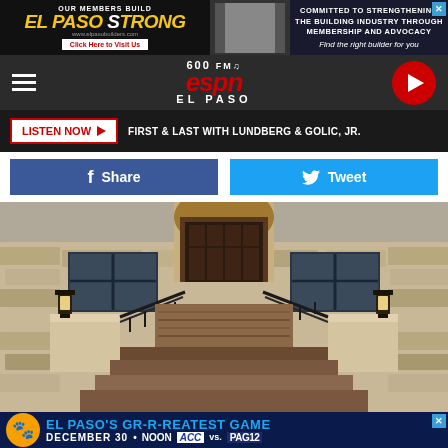[Figure (screenshot): Advertisement banner for El Paso Builders Association with 'OUR MEMBERS BUILD EL PASO STRONG' text and 'COMMITTED TO STRENGTHENING THE BUILDING INDUSTRY THROUGH MEMBERSHIP AND ADVOCACY - Find the right builder for you']
[Figure (logo): 600 FM ESPN El Paso radio station logo with hamburger menu and play button]
LISTEN NOW ▶ FIRST & LAST WITH LUNDBERG & GOLIC, JR.
Share
Tweet
[Figure (photo): Photo of a luxury stone house entrance with wooden steps, iron railings, lantern lights and wooden double doors]
[Figure (screenshot): Advertisement for El Paso's GR-R-REATEST GAME on December 30 at Noon, ACC vs PAC12]